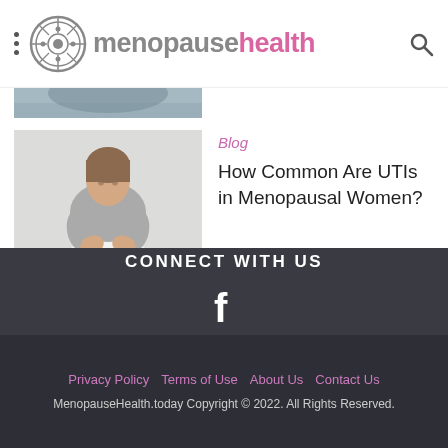menopausehealth
[Figure (photo): Cropped top portion of a woman — partial image cut off at top of content area]
[Figure (photo): Woman in gray sweater and white pants holding her lower abdomen area, suggesting UTI/bladder discomfort]
Blog
How Common Are UTIs in Menopausal Women?
CONNECT WITH US
[Figure (illustration): Facebook logo icon (f) in white on dark background]
Privacy Policy   Terms of Use   About Us   Contact Us
MenopauseHealth.today Copyright © 2022. All Rights Reserved.